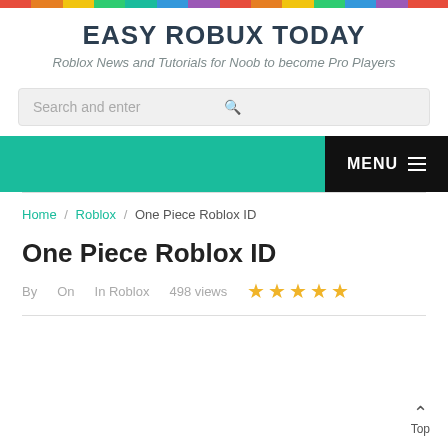EASY ROBUX TODAY
Roblox News and Tutorials for Noob to become Pro Players
Search and enter
MENU
Home / Roblox / One Piece Roblox ID
One Piece Roblox ID
By  On  In Roblox  498 views  ★★★★★